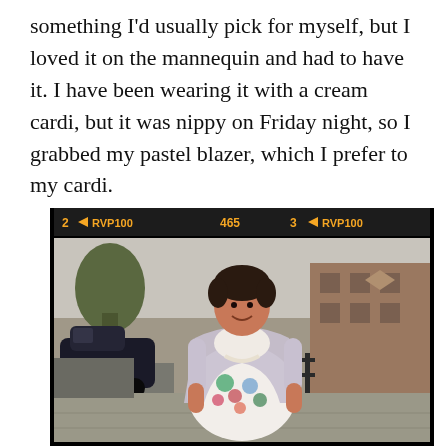something I'd usually pick for myself, but I loved it on the mannequin and had to have it. I have been wearing it with a cream cardi, but it was nippy on Friday night, so I grabbed my pastel blazer, which I prefer to my cardi.
[Figure (photo): A woman standing on a footpath/sidewalk wearing a floral dress and a light pastel blazer, smiling at the camera. The photo has a vintage film strip border at the top with text '2 RUP100 465 3 RUP100' in orange/yellow on a dark strip. Background shows a street with a parked dark car on the left, trees, and brick buildings on the right.]